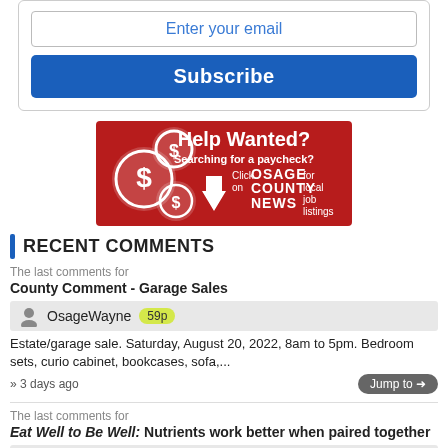[Figure (screenshot): Email input field with placeholder text 'Enter your email' and a blue Subscribe button below it, inside a rounded border box]
[Figure (infographic): Red Help Wanted banner ad with dollar sign coins and text: Help Wanted? Searching for a paycheck? Click on OSAGE COUNTY NEWS for local job listings]
RECENT COMMENTS
The last comments for
County Comment - Garage Sales
OsageWayne 59p
Estate/garage sale. Saturday, August 20, 2022, 8am to 5pm. Bedroom sets, curio cabinet, bookcases, sofa,...
» 3 days ago
The last comments for
Eat Well to Be Well: Nutrients work better when paired together
Richard Porter
Great and clear info